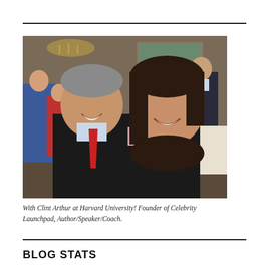[Figure (photo): Two people posing together for a photo in what appears to be a formal dining room or club setting. On the left is a man with gray hair wearing a dark suit jacket, light blue shirt, and red tie, smiling broadly. On the right is a woman with long dark brown hair wearing a dark blazer with a floral top, also smiling. In the background are other guests, wood paneling, paintings on the wall, and a man in a suit with a yellow tie.]
With Clint Arthur at Harvard University! Founder of Celebrity Launchpad, Author/Speaker/Coach.
BLOG STATS